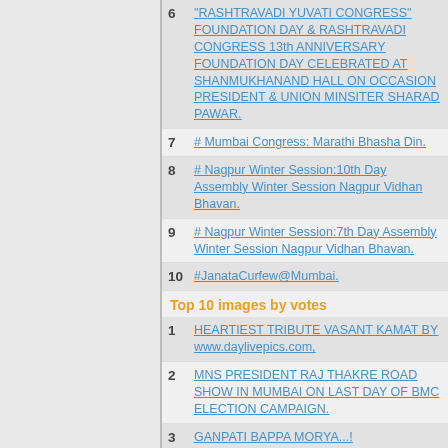6 "RASHTRAVADI YUVATI CONGRESS" FOUNDATION DAY & RASHTRAVADI CONGRESS 13th ANNIVERSARY FOUNDATION DAY CELEBRATED AT SHANMUKHANAND HALL ON OCCASION PRESIDENT & UNION MINSITER SHARAD PAWAR.
7 # Mumbai Congress: Marathi Bhasha Din.
8 # Nagpur Winter Session:10th Day Assembly Winter Session Nagpur Vidhan Bhavan.
9 # Nagpur Winter Session:7th Day Assembly Winter Session Nagpur Vidhan Bhavan.
10 #JanataCurfew@Mumbai.
Top 10 images by votes
1 HEARTIEST TRIBUTE VASANT KAMAT BY www.daylivepics.com,
2 MNS PRESIDENT RAJ THAKRE ROAD SHOW IN MUMBAI ON LAST DAY OF BMC ELECTION CAMPAIGN.
3 GANPATI BAPPA MORYA...!
4 "Dhanda Kasa Karava"-- Dr. Manohar Joshi's Book Launched by Shivsena Chief Uddhav Thackarey.
5 AJIT DADA PAWAR ( DY.CHIEF MINSITER OF MAHARASHATRA ).
6 MP.UNION MINISTER GURUDASJI KAMAT.